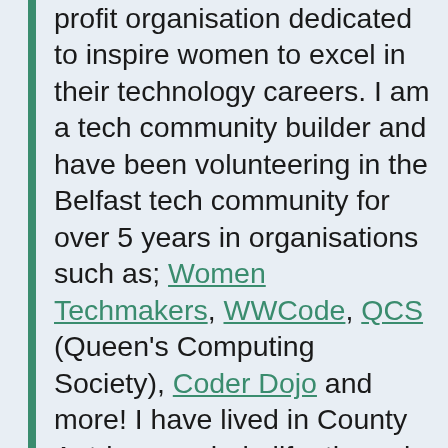profit organisation dedicated to inspire women to excel in their technology careers. I am a tech community builder and have been volunteering in the Belfast tech community for over 5 years in organisations such as; Women Techmakers, WWCode, QCS (Queen's Computing Society), Coder Dojo and more! I have lived in County Antrim my whole life, the only time I didn't was when I moved to Dublin for 4 months. I missed home, friends